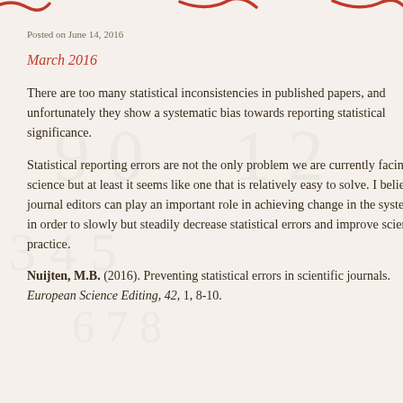Posted on June 14, 2016
March 2016
There are too many statistical inconsistencies in published papers, and unfortunately they show a systematic bias towards reporting statistical significance.
Statistical reporting errors are not the only problem we are currently facing in science but at least it seems like one that is relatively easy to solve. I believe journal editors can play an important role in achieving change in the system, in order to slowly but steadily decrease statistical errors and improve scientific practice.
Nuijten, M.B. (2016). Preventing statistical errors in scientific journals. European Science Editing, 42, 1, 8-10.